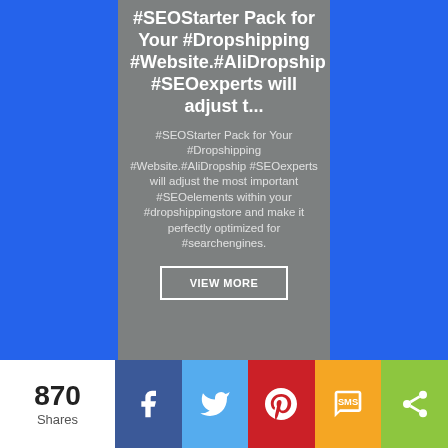#SEOStarter Pack for Your #Dropshipping #Website.#AliDropship #SEOexperts will adjust t...
#SEOStarter Pack for Your #Dropshipping #Website.#AliDropship #SEOexperts will adjust the most important #SEOelements within your #dropshippingstore and make it perfectly optimized for #searchengines.
VIEW MORE
870 Shares